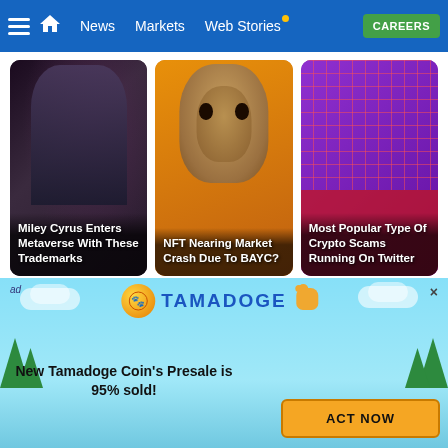News | Markets | Web Stories | CAREERS
[Figure (photo): Card 1: Miley Cyrus Enters Metaverse With These Trademarks - photo of person]
Miley Cyrus Enters Metaverse With These Trademarks
[Figure (illustration): Card 2: NFT Nearing Market Crash Due To BAYC? - cartoon ape illustration on orange background]
NFT Nearing Market Crash Due To BAYC?
[Figure (photo): Card 3: Most Popular Type Of Crypto Scams Running On Twitter - colorful grid image]
Most Popular Type Of Crypto Scams Running On Twitter
[Figure (screenshot): Partial chart/graph visible in middle section]
[Figure (infographic): Tamadoge advertisement banner with light blue background, coin logo, dog mascot, and ACT NOW button]
New Tamadoge Coin's Presale is 95% sold!